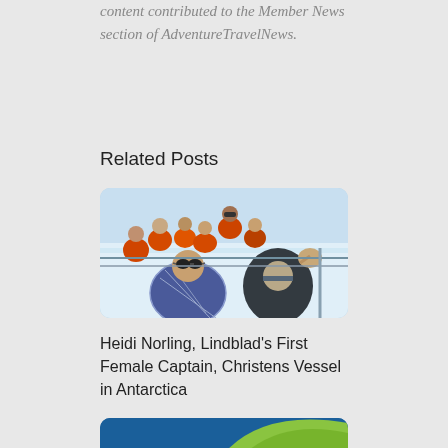content contributed to the Member News section of AdventureTravelNews.
Related Posts
[Figure (photo): Group of people on a ship deck wearing orange life jackets, with two people in the foreground smiling and waving, in an Antarctic or polar setting with ice and bright blue sky in the background.]
Heidi Norling, Lindblad's First Female Captain, Christens Vessel in Antarctica
[Figure (photo): Partial view of a second article image with blue and green design elements, cropped at the bottom of the page.]